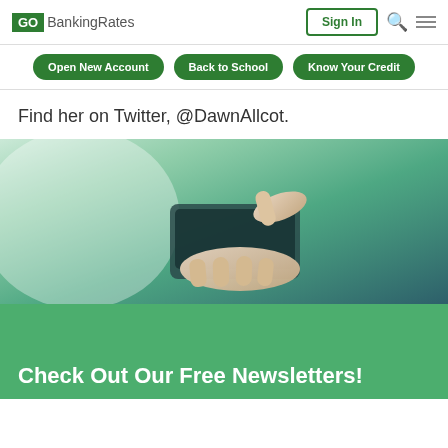GO BankingRates | Sign In
Open New Account   Back to School   Know Your Credit
Find her on Twitter, @DawnAllcot.
[Figure (photo): Person using a smartphone, hands holding phone from above, on a green-tinted background]
Check Out Our Free Newsletters!